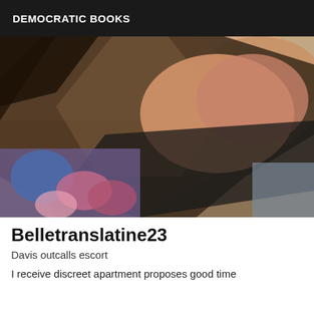DEMOCRATIC BOOKS
[Figure (photo): Close-up photo of a person with dark hair, showing their neck and shoulder area, wearing a patterned colorful top with dark lace overlay]
Belletranslatine23
Davis outcalls escort
I receive discreet apartment proposes good time